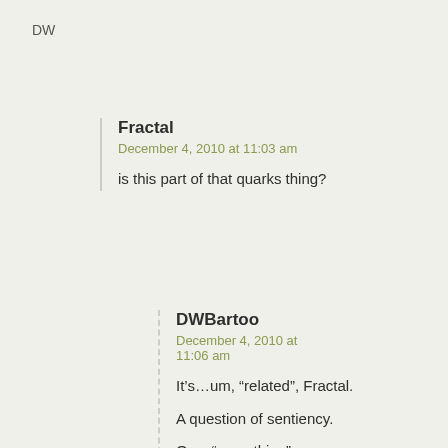DW
Fractal
December 4, 2010 at 11:03 am
is this part of that quarks thing?
DWBartoo
December 4, 2010 at 11:06 am
It’s…um, “related”, Fractal.
A question of sentiency.
Or… “something”